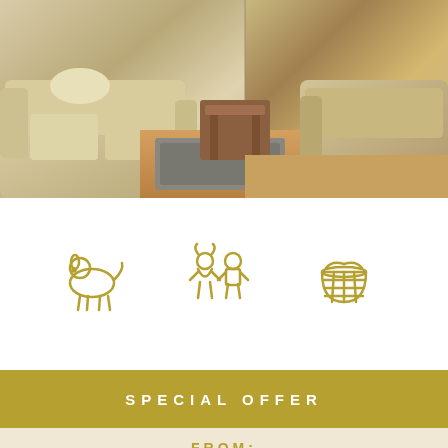[Figure (photo): Interior living room photo showing beige/cream colored sofas, a wooden side table, and a woven rug on hardwood floors. Split into two panels.]
[Figure (infographic): Row of golden outline icons representing amenities: dog (pet-friendly), two children figures (family-friendly), basket/linens, beach umbrella, WiFi signal, trees/nature, and a car.]
SPECIAL OFFER
FROM:
TO:
NORMAL: